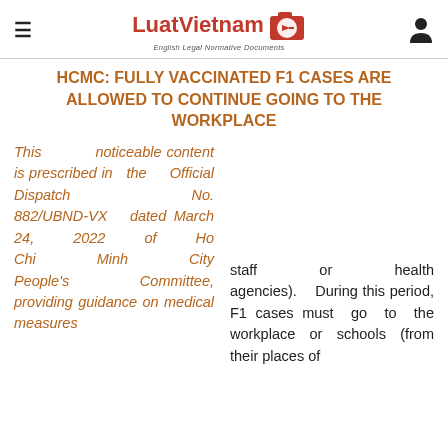LuatVietnam — English Legal Normative Documents
HCMC: FULLY VACCINATED F1 CASES ARE ALLOWED TO CONTINUE GOING TO THE WORKPLACE
This noticeable content is prescribed in the Official Dispatch No. 882/UBND-VX dated March 24, 2022 of Ho Chi Minh City People's Committee, providing guidance on medical measures
staff or health agencies). During this period, F1 cases must go to the workplace or schools (from their places of